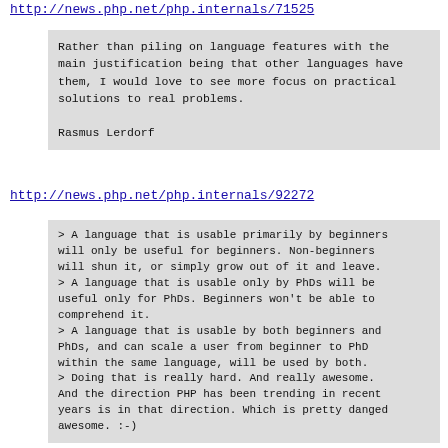http://news.php.net/php.internals/71525
Rather than piling on language features with the main justification being that other languages have them, I would love to see more focus on practical solutions to real problems.

Rasmus Lerdorf
http://news.php.net/php.internals/92272
> A language that is usable primarily by beginners will only be useful for beginners. Non-beginners will shun it, or simply grow out of it and leave.
> A language that is usable only by PhDs will be useful only for PhDs. Beginners won't be able to comprehend it.
> A language that is usable by both beginners and PhDs, and can scale a user from beginner to PhD within the same language, will be used by both.
> Doing that is really hard. And really awesome. And the direction PHP has been trending in recent years is in that direction. Which is pretty danged awesome. :-)